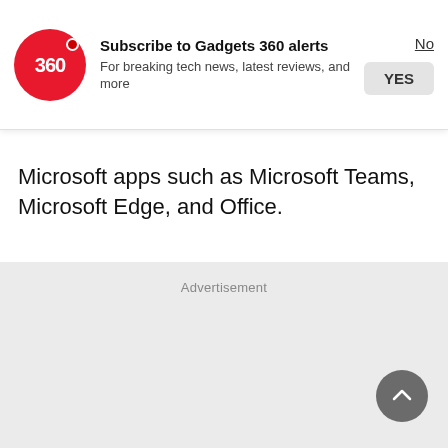[Figure (logo): Gadgets 360 red circle logo with white '360' text and a red dot accent]
Subscribe to Gadgets 360 alerts
For breaking tech news, latest reviews, and more
Microsoft apps such as Microsoft Teams, Microsoft Edge, and Office.
Advertisement